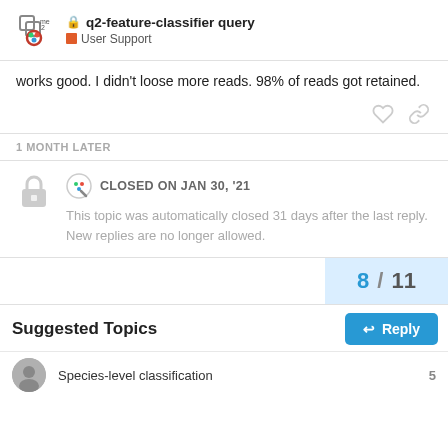q2-feature-classifier query | User Support
works good. I didn't loose more reads. 98% of reads got retained.
1 MONTH LATER
CLOSED ON JAN 30, '21
This topic was automatically closed 31 days after the last reply. New replies are no longer allowed.
8 / 11
Suggested Topics
Species-level classification
5